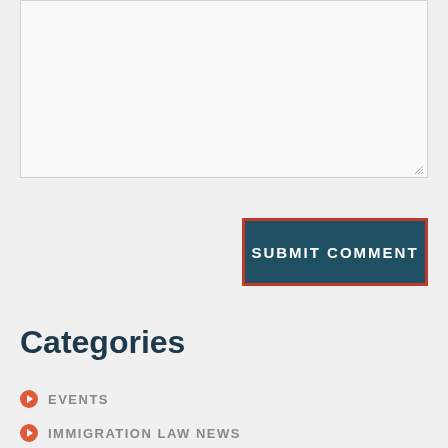[Figure (screenshot): Text area input box with resize handle in bottom right corner]
SUBMIT COMMENT
Categories
EVENTS
IMMIGRATION LAW NEWS